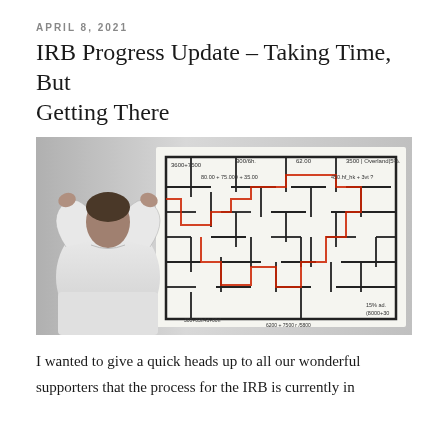APRIL 8, 2021
IRB Progress Update – Taking Time, But Getting There
[Figure (photo): A man viewed from behind with hands on his head looking at a whiteboard filled with a complex maze diagram covered in mathematical calculations and formulas written in marker.]
I wanted to give a quick heads up to all our wonderful supporters that the process for the IRB is currently in